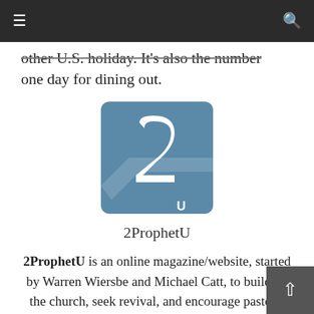≡  [navigation bar with menu and search icons]  🔍
other U.S. holiday. It's also the number one day for dining out.
[Figure (logo): 2ProphetU logo — a teal/blue-gray square with a stylized '2' and 'PROPHET U' text in white]
2ProphetU
2ProphetU is an online magazine/website, started by Warren Wiersbe and Michael Catt, to build up the church, seek revival, and encourage pastors.